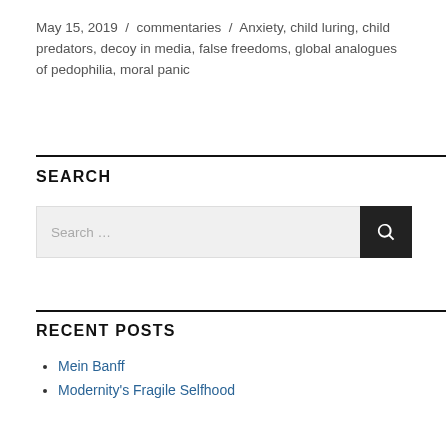May 15, 2019 / commentaries / Anxiety, child luring, child predators, decoy in media, false freedoms, global analogues of pedophilia, moral panic
SEARCH
RECENT POSTS
Mein Banff
Modernity's Fragile Selfhood